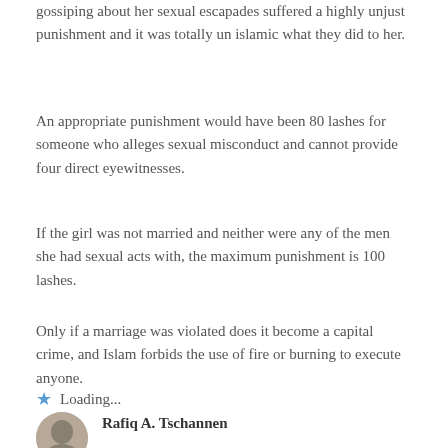gossiping about her sexual escapades suffered a highly unjust punishment and it was totally un islamic what they did to her.
An appropriate punishment would have been 80 lashes for someone who alleges sexual misconduct and cannot provide four direct eyewitnesses.
If the girl was not married and neither were any of the men she had sexual acts with, the maximum punishment is 100 lashes.
Only if a marriage was violated does it become a capital crime, and Islam forbids the use of fire or burning to execute anyone.
Loading...
Reply
Rafiq A. Tschannen